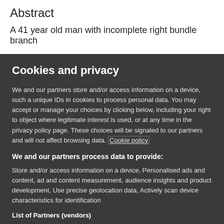Abstract
A 41 year old man with incomplete right bundle branch
Cookies and privacy
We and our partners store and/or access information on a device, such a unique IDs in cookies to process personal data. You may accept or manage your choices by clicking below, including your right to object where legitimate interest is used, or at any time in the privacy policy page. These choices will be signaled to our partners and will not affect browsing data. Cookie policy
We and our partners process data to provide:
Store and/or access information on a device, Personalised ads and content, ad and content measurement, audience insights and product development, Use precise geolocation data, Actively scan device characteristics for identification
List of Partners (vendors)
I Accept